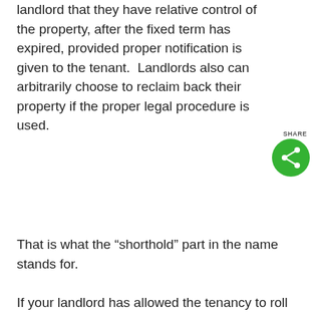landlord that they have relative control of the property, after the fixed term has expired, provided proper notification is given to the tenant.  Landlords also can arbitrarily choose to reclaim back their property if the proper legal procedure is used.
That is what the “shorthold” part in the name stands for.
If your landlord has allowed the tenancy to roll into a periodic tenancy, they may at any point, increase your rent, provided they follow the right procedure.